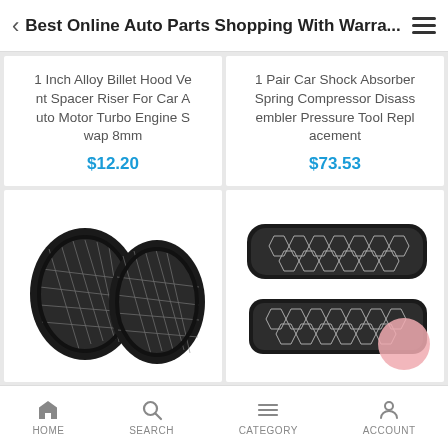Best Online Auto Parts Shopping With Warra...
1 Inch Alloy Billet Hood Vent Spacer Riser For Car Auto Motor Turbo Engine Swap 8mm
$12.20
1 Pair Car Shock Absorber Spring Compressor Disassembler Pressure Tool Replacement
$73.53
[Figure (photo): Two black diamond-pattern BMW kidney grilles]
[Figure (photo): Two black honeycomb-pattern car front bumper grilles/mesh inserts]
HOME   SEARCH   CATEGORY   ACCOUNT